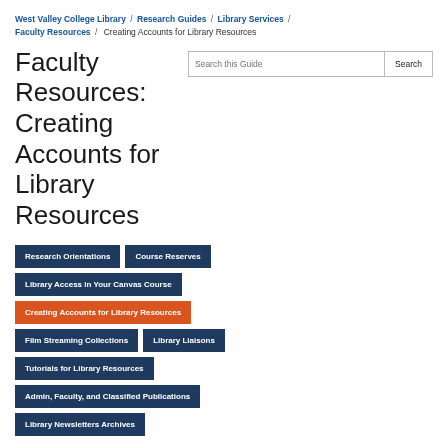West Valley College Library / Research Guides / Library Services / Faculty Resources / Creating Accounts for Library Resources
Faculty Resources: Creating Accounts for Library Resources
Research Orientations
Course Reserves
Library Access in Your Canvas Course
Creating Accounts for Library Resources
Film Streaming Collections
Library Liaisons
Tutorials for Library Resources
Admin, Faculty, and Classified Publications
Library Newsletters Archives
The New York Times